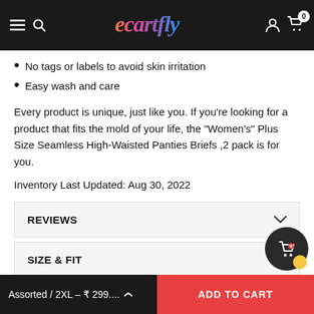ecartfly — navigation header
No tags or labels to avoid skin irritation
Easy wash and care
Every product is unique, just like you. If you're looking for a product that fits the mold of your life, the "Women's" Plus Size Seamless High-Waisted Panties Briefs ,2 pack is for you.
Inventory Last Updated: Aug 30, 2022
REVIEWS
SIZE & FIT
Assorted / 2XL – ₹ 299.... ADD TO CART